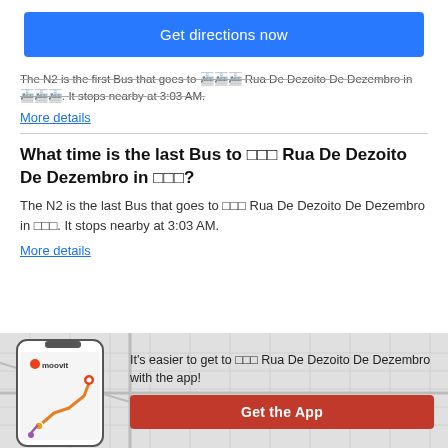Get directions now
The N2 is the first Bus that goes to 🚌 Rua De Dezoito De Dezembro in 🏙️. It stops nearby at 3:03 AM.
More details
What time is the last Bus to 🚌 Rua De Dezoito De Dezembro in 🏙️?
The N2 is the last Bus that goes to 🚌 Rua De Dezoito De Dezembro in 🏙️. It stops nearby at 3:03 AM.
More details
[Figure (illustration): Moovit app phone mockup with map and route lines]
It's easier to get to 🚌 Rua De Dezoito De Dezembro with the app!
Get the App